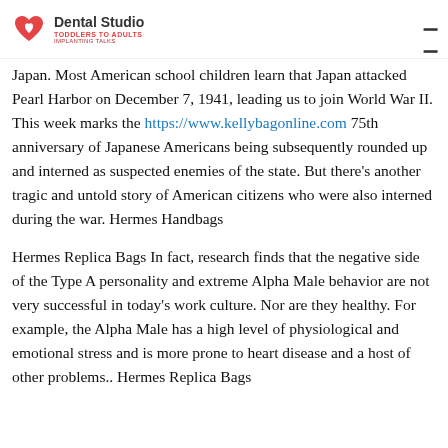Dental Studio — Toddlers to Adults — Implanting Talks
Japan. Most American school children learn that Japan attacked Pearl Harbor on December 7, 1941, leading us to join World War II. This week marks the https://www.kellybagonline.com 75th anniversary of Japanese Americans being subsequently rounded up and interned as suspected enemies of the state. But there's another tragic and untold story of American citizens who were also interned during the war. Hermes Handbags
Hermes Replica Bags In fact, research finds that the negative side of the Type A personality and extreme Alpha Male behavior are not very successful in today's work culture. Nor are they healthy. For example, the Alpha Male has a high level of physiological and emotional stress and is more prone to heart disease and a host of other problems.. Hermes Replica Bags